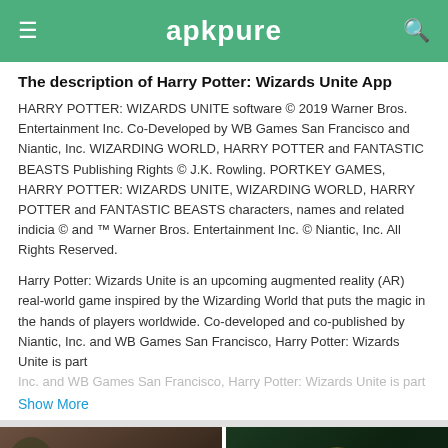apkpure
The description of Harry Potter: Wizards Unite App
HARRY POTTER: WIZARDS UNITE software © 2019 Warner Bros. Entertainment Inc. Co-Developed by WB Games San Francisco and Niantic, Inc. WIZARDING WORLD, HARRY POTTER and FANTASTIC BEASTS Publishing Rights © J.K. Rowling. PORTKEY GAMES, HARRY POTTER: WIZARDS UNITE, WIZARDING WORLD, HARRY POTTER and FANTASTIC BEASTS characters, names and related indicia © and ™ Warner Bros. Entertainment Inc. © Niantic, Inc. All Rights Reserved.
Harry Potter: Wizards Unite is an upcoming augmented reality (AR) real-world game inspired by the Wizarding World that puts the magic in the hands of players worldwide. Co-developed and co-published by Niantic, Inc. and WB Games San Francisco, Harry Potter: Wizards Unite is part
Show More
[Figure (screenshot): Video thumbnail showing two people with a play button overlay]
[Figure (screenshot): Screenshot showing Harry Potter Wizards Unite magical logo]